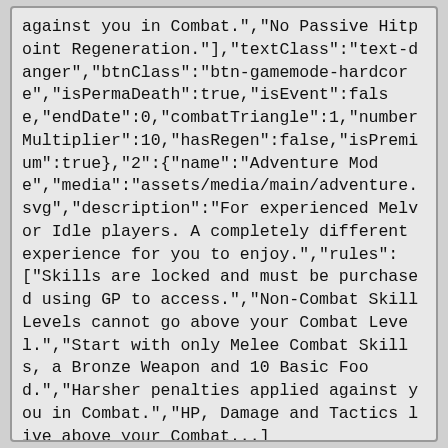against you in Combat.","No Passive Hitpoint Regeneration."],"textClass":"text-danger","btnClass":"btn-gamemode-hardcore","isPermaDeath":true,"isEvent":false,"endDate":0,"combatTriangle":1,"numberMultiplier":10,"hasRegen":false,"isPremium":true},"2":{"name":"Adventure Mode","media":"assets/media/main/adventure.svg","description":"For experienced Melvor Idle players. A completely different experience for you to enjoy.","rules":["Skills are locked and must be purchased using GP to access.","Non-Combat Skill Levels cannot go above your Combat Level.","Start with only Melee Combat Skills, a Bronze Weapon and 10 Basic Food.","Harsher penalties applied against you in Combat.","HP, Damage and Tactics live above your Combat...]